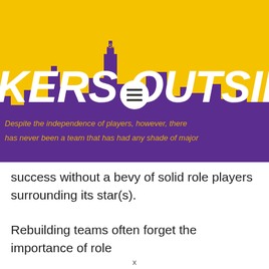[Figure (illustration): Website header banner with yellow/gold background, purple city skyline silhouette, large white italic bold text reading 'KERS OUTSIDE' (part of Lakers Outside), overlapping text in gold italic describing team themes, and a white circular menu icon with three horizontal bars in the center.]
success without a bevy of solid role players surrounding its star(s).
Rebuilding teams often forget the importance of role